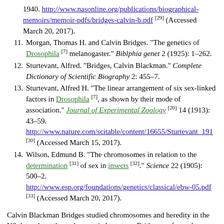1940. http://www.nasonline.org/publications/biographical-memoirs/memoir-pdfs/bridges-calvin-b.pdf [29] (Accessed March 20, 2017).
11. Morgan, Thomas H. and Calvin Bridges. "The genetics of Drosophila [7] melanogaster." Biblphia genet 2 (1925): 1–262.
12. Sturtevant, Alfred. "Bridges, Calvin Blackman." Complete Dictionary of Scientific Biography 2: 455–7.
13. Sturtevant, Alfred H. "The linear arrangement of six sex-linked factors in Drosophila [7], as shown by their mode of association." Journal of Experimental Zoology [20] 14 (1913): 43–59. http://www.nature.com/scitable/content/16655/Sturtevant_191 [30] (Accessed March 15, 2017).
14. Wilson, Edmund B. "The chromosomes in relation to the determination [31] of sex in insects [32]." Science 22 (1905): 500–2. http://www.esp.org/foundations/genetics/classical/ebw-05.pdf [33] (Accessed March 20, 2017).
Calvin Blackman Bridges studied chromosomes and heredity in the US throughout the early twentieth century. Bridges performed research with Thomas Hunt Morgan at Columbia University in New York City, New York, and at the California Institute of Technology in Pasadena, California. Bridges and Morgan studied